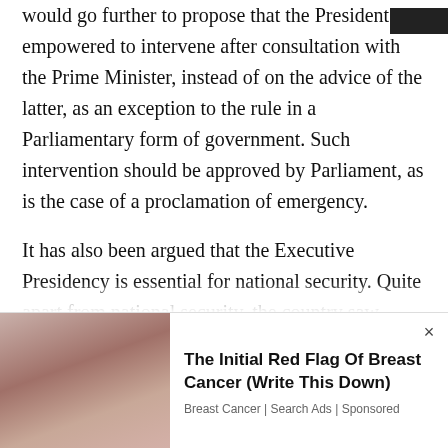would go further to propose that the President be empowered to intervene after consultation with the Prime Minister, instead of on the advice of the latter, as an exception to the rule in a Parliamentary form of government. Such intervention should be approved by Parliament, as is the case of a proclamation of emergency.
It has also been argued that the Executive Presidency is essential for national security. Quite apart from national security, the country saw President Rajapaksa being unable even to maintain public order on 09 May and
[Figure (photo): Advertisement image showing a person's torso and hands, with a pinkish-brown background.]
The Initial Red Flag Of Breast Cancer (Write This Down)
Breast Cancer | Search Ads | Sponsored